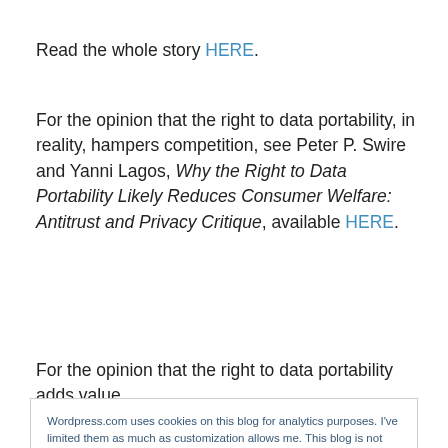Read the whole story HERE.
For the opinion that the right to data portability, in reality, hampers competition, see Peter P. Swire and Yanni Lagos, Why the Right to Data Portability Likely Reduces Consumer Welfare: Antitrust and Privacy Critique, available HERE.
For the opinion that the right to data portability adds value
Wordpress.com uses cookies on this blog for analytics purposes. I've limited them as much as customization allows me. This blog is not monetized through online ads. Consent will be recorded after you click the "Close and Accept" button, and not just by mere scrolling. The widget doesn't provide an "I refuse" button for any unnecessary cookies Wordpress may place, and I'm working on finding a solution for this. Wordpress Cookie Policy Close and accept